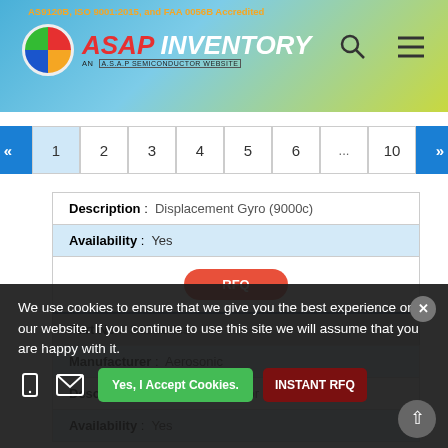AS9120B, ISO 9001:2015, and FAA 0056B Accredited — ASAP INVENTORY — AN A.S.A.P SEMICONDUCTOR WEBSITE
[Figure (logo): ASAP Inventory logo with circular gauge icon and company name]
« 1 2 3 4 5 6 ... 10 »
| Description : | Displacement Gyro (9000c) |
| Availability : | Yes |
|  | RFQ |
| Part No : | S25Series |
| Manufacturer : | Aerosonic |
| Description : | Airspeed Indicator |
| Availability : | Yes |
We use cookies to ensure that we give you the best experience on our website. If you continue to use this site we will assume that you are happy with it.
Yes, I Accept Cookies.
INSTANT RFQ